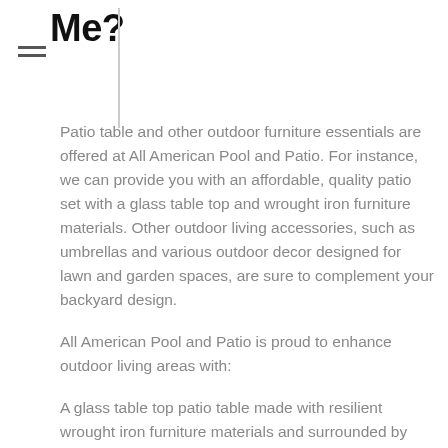Me?
Patio table and other outdoor furniture essentials are offered at All American Pool and Patio. For instance, we can provide you with an affordable, quality patio set with a glass table top and wrought iron furniture materials. Other outdoor living accessories, such as umbrellas and various outdoor decor designed for lawn and garden spaces, are sure to complement your backyard design.
All American Pool and Patio is proud to enhance outdoor living areas with:
A glass table top patio table made with resilient wrought iron furniture materials and surrounded by aesthetically pleasing outdoor decor